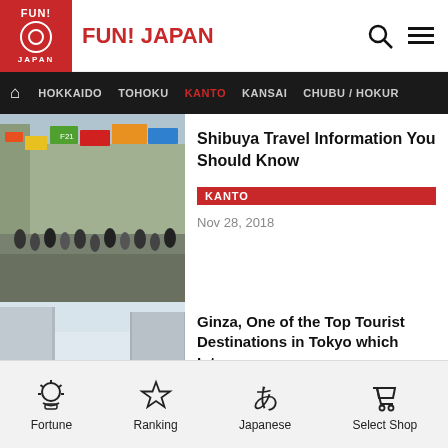FUN! JAPAN
HOKKAIDO  TOHOKU  KANTO  KANSAI  CHUBU / HOKUR
[Figure (photo): Busy Shibuya street scene with crowds and colorful signs]
Shibuya Travel Information You Should Know
KANTO
Nov 28, 2018
[Figure (photo): Ginza wide pedestrian boulevard flanked by tall buildings]
Ginza, One of the Top Tourist Destinations in Tokyo which Inte...
KANTO
Nov 27, 2018
[Figure (photo): Two women eating at a Japanese restaurant interior]
Things To Do in Tsukishima: Monjayaki and Owls!
Fortune  Ranking  Japanese  Select Shop